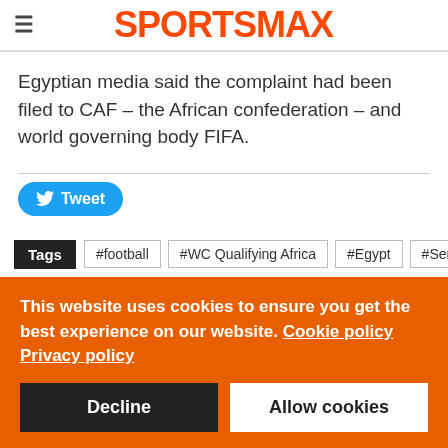SPORTSMAX
Egyptian media said the complaint had been filed to CAF – the African confederation – and world governing body FIFA.
[Figure (other): Tweet button with Twitter bird icon]
Tags  #football  #WC Qualifying Africa  #Egypt  #Senegal
This website uses cookies to ensure you get the best experience on our website. Cookie policy
Privacy policy
Decline   Allow cookies